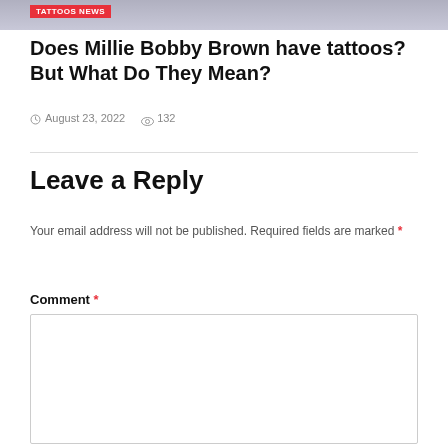[Figure (photo): Partial image of a person wearing a dark shirt, with a red 'TATTOOS NEWS' badge overlay in upper left corner]
Does Millie Bobby Brown have tattoos? But What Do They Mean?
August 23, 2022   132
Leave a Reply
Your email address will not be published. Required fields are marked *
Comment *